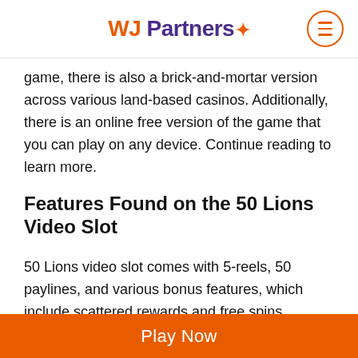WJ Partners
game, there is also a brick-and-mortar version across various land-based casinos. Additionally, there is an online free version of the game that you can play on any device. Continue reading to learn more.
Features Found on the 50 Lions Video Slot
50 Lions video slot comes with 5-reels, 50 paylines, and various bonus features, which include scattered rewards and free spins.
Symbols used in this game include a wildflower, a giraffe, a zebra, a lion, tribal women, the Serengeti landscape of Africa, and card values 10, J, Q, K, and A.
Play Now